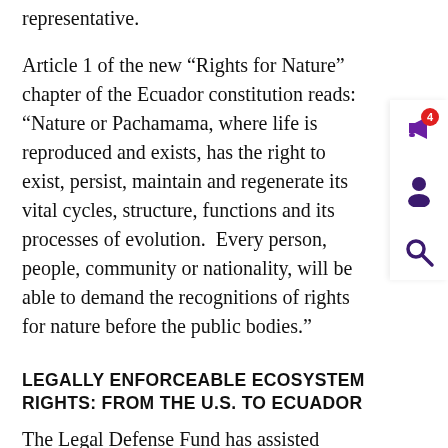representative.
Article 1 of the new “Rights for Nature” chapter of the Ecuador constitution reads: “Nature or Pachamama, where life is reproduced and exists, has the right to exist, persist, maintain and regenerate its vital cycles, structure, functions and its processes of evolution.  Every person, people, community or nationality, will be able to demand the recognitions of rights for nature before the public bodies.”
LEGALLY ENFORCEABLE ECOSYSTEM RIGHTS: FROM THE U.S. TO ECUADOR
The Legal Defense Fund has assisted communities in the U.S. in Pennsylvania